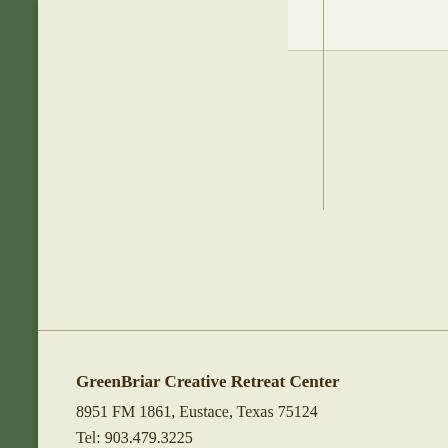GreenBriar Creative Retreat Center
8951 FM 1861, Eustace, Texas 75124
Tel: 903.479.3225
info@greenbriarretreat.com
GreenBriar Creative Retreat
©2008 - 2022 GreenBriar  |  S